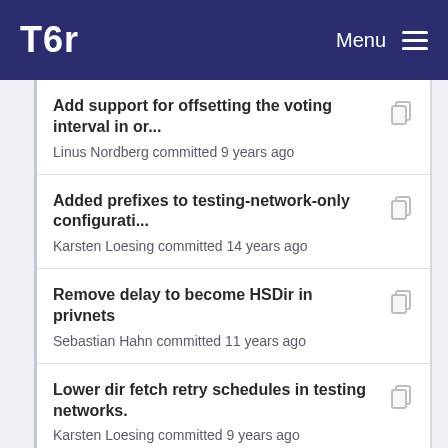Tor — Menu
Add support for offsetting the voting interval in or...
Linus Nordberg committed 9 years ago
Added prefixes to testing-network-only configurati...
Karsten Loesing committed 14 years ago
Remove delay to become HSDir in privnets
Sebastian Hahn committed 11 years ago
Lower dir fetch retry schedules in testing networks.
Karsten Loesing committed 9 years ago